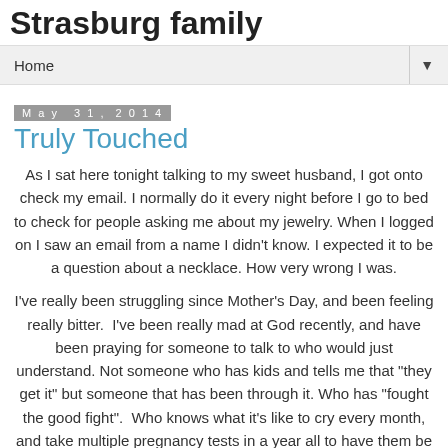Strasburg family
Home ▼
May 31, 2014
Truly Touched
As I sat here tonight talking to my sweet husband, I got onto check my email. I normally do it every night before I go to bed to check for people asking me about my jewelry. When I logged on I saw an email from a name I didn't know. I expected it to be a question about a necklace. How very wrong I was.
I've really been struggling since Mother's Day, and been feeling really bitter.  I've been really mad at God recently, and have been praying for someone to talk to who would just understand. Not someone who has kids and tells me that "they get it" but someone that has been through it. Who has "fought the good fight".  Who knows what it's like to cry every month, and take multiple pregnancy tests in a year all to have them be negative.  Someone who understands that